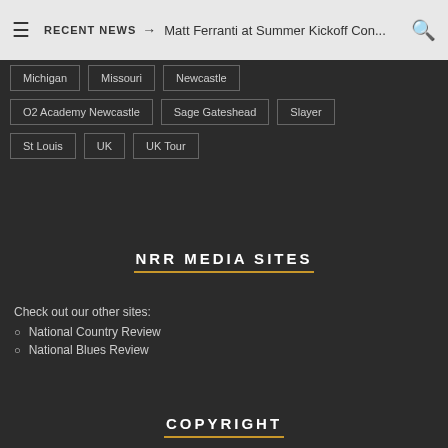≡ RECENT NEWS → Matt Ferranti at Summer Kickoff Con... 🔍
Michigan
Missouri
Newcastle
O2 Academy Newcastle
Sage Gateshead
Slayer
St Louis
UK
UK Tour
NRR MEDIA SITES
Check out our other sites:
National Country Review
National Blues Review
COPYRIGHT